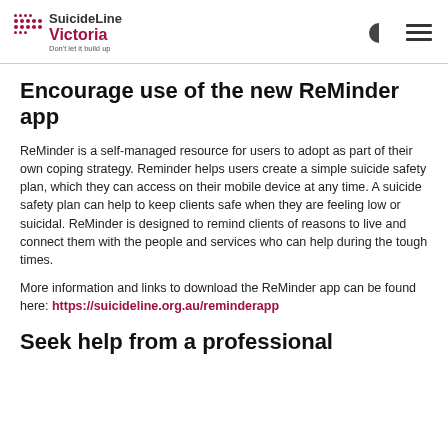SuicideLine Victoria — Don't let it build up
Encourage use of the new ReMinder app
ReMinder is a self-managed resource for users to adopt as part of their own coping strategy. Reminder helps users create a simple suicide safety plan, which they can access on their mobile device at any time. A suicide safety plan can help to keep clients safe when they are feeling low or suicidal. ReMinder is designed to remind clients of reasons to live and connect them with the people and services who can help during the tough times.
More information and links to download the ReMinder app can be found here: https://suicideline.org.au/reminderapp
Seek help from a professional